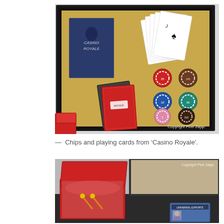[Figure (photo): A framed shadow box display showing Casino Royale memorabilia: a movie poster, playing cards fanned out (high spades), casino chips in various colors (red, brown, blue, teal, pink, dark), two decks of playing cards face down, and a red jewelry box in the foreground. Copyright watermark: 'Copyright Piotr Zajac'.]
— Chips and playing cards from 'Casino Royale'.
[Figure (photo): Close-up of a red jewelry/watch box open, showing red velvet interior with what appears to be cufflinks or small props inside. A Universal Exports ID card/badge is partially visible in the lower right. Copyright watermark: 'Copyright Piotr Zajac'.]